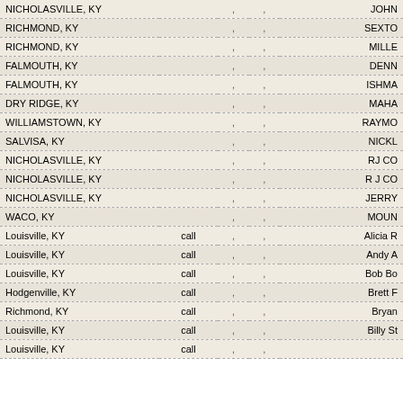| City | Type |  |  | Name |
| --- | --- | --- | --- | --- |
| NICHOLASVILLE, KY |  | , | , | JOHN |
| RICHMOND, KY |  | , | , | SEXTO |
| RICHMOND, KY |  | , | , | MILLE |
| FALMOUTH, KY |  | , | , | DENN |
| FALMOUTH, KY |  | , | , | ISHMA |
| DRY RIDGE, KY |  | , | , | MAHA |
| WILLIAMSTOWN, KY |  | , | , | RAYMO |
| SALVISA, KY |  | , | , | NICKL |
| NICHOLASVILLE, KY |  | , | , | RJ CO |
| NICHOLASVILLE, KY |  | , | , | R J CO |
| NICHOLASVILLE, KY |  | , | , | JERRY |
| WACO, KY |  | , | , | MOUN |
| Louisville, KY | call | , | , | Alicia R |
| Louisville, KY | call | , | , | Andy A |
| Louisville, KY | call | , | , | Bob Bo |
| Hodgenville, KY | call | , | , | Brett F |
| Richmond, KY | call | , | , | Bryan |
| Louisville, KY | call | , | , | Billy St |
| Louisville, KY | call | , | , |  |